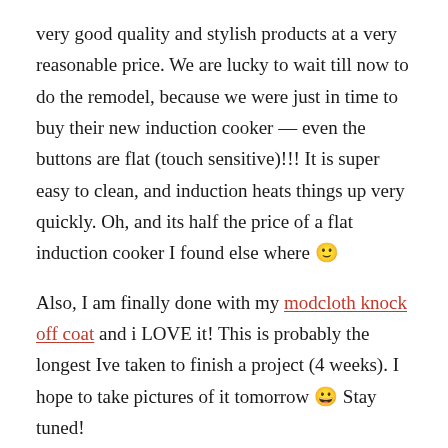very good quality and stylish products at a very reasonable price. We are lucky to wait till now to do the remodel, because we were just in time to buy their new induction cooker — even the buttons are flat (touch sensitive)!!! It is super easy to clean, and induction heats things up very quickly. Oh, and its half the price of a flat induction cooker I found else where 🙂
Also, I am finally done with my modcloth knock off coat and i LOVE it! This is probably the longest Ive taken to finish a project (4 weeks). I hope to take pictures of it tomorrow 😀 Stay tuned!
Share this: